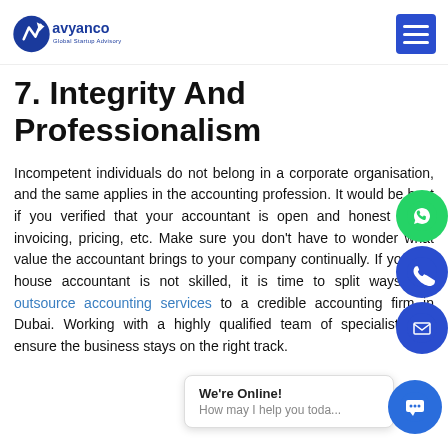Avyanco Global Startup Advisory
7. Integrity And Professionalism
Incompetent individuals do not belong in a corporate organisation, and the same applies in the accounting profession. It would be best if you verified that your accountant is open and honest about invoicing, pricing, etc. Make sure you don't have to wonder what value the accountant brings to your company continually. If your in-house accountant is not skilled, it is time to split ways and outsource accounting services to a credible accounting firm in Dubai. Working with a highly qualified team of specialists will ensure the business stays on the right track.